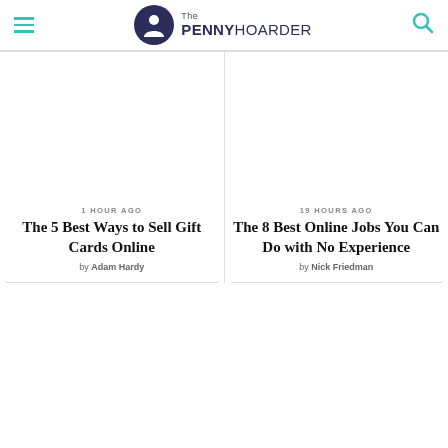The Penny Hoarder
1 HOUR AGO
The 5 Best Ways to Sell Gift Cards Online
by Adam Hardy
19 HOURS AGO
The 8 Best Online Jobs You Can Do with No Experience
by Nick Friedman